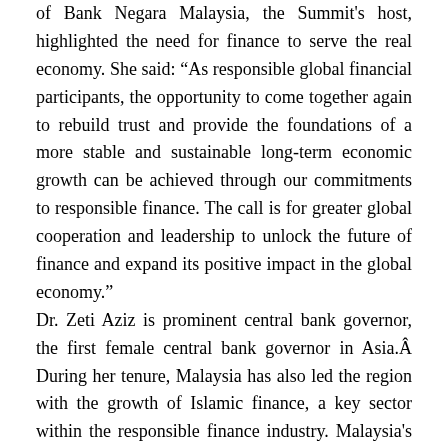of Bank Negara Malaysia, the Summit's host, highlighted the need for finance to serve the real economy. She said: “As responsible global financial participants, the opportunity to come together again to rebuild trust and provide the foundations of a more stable and sustainable long-term economic growth can be achieved through our commitments to responsible finance. The call is for greater global cooperation and leadership to unlock the future of finance and expand its positive impact in the global economy.”
Dr. Zeti Aziz is prominent central bank governor, the first female central bank governor in Asia.Â During her tenure, Malaysia has also led the region with the growth of Islamic finance, a key sector within the responsible finance industry. Malaysia’s Islamic banks represent 20% of the total banking system and its Islamic investment funds represent 37% of Asia’s responsible investment assets.
Following Dr. Zeti’s address, Mr. Georg Kell, Vice Chairman of